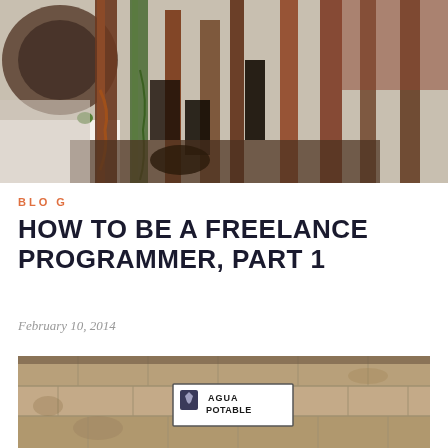[Figure (photo): Close-up of rusty and oxidized industrial machinery or metal pipes with green and brown patina, photographed outdoors]
BLO G
HOW TO BE A FREELANCE PROGRAMMER, PART 1
February 10, 2014
[Figure (photo): Stone wall with a white sign reading 'AGUA POTABLE' with a small coat of arms emblem on the left side of the sign]